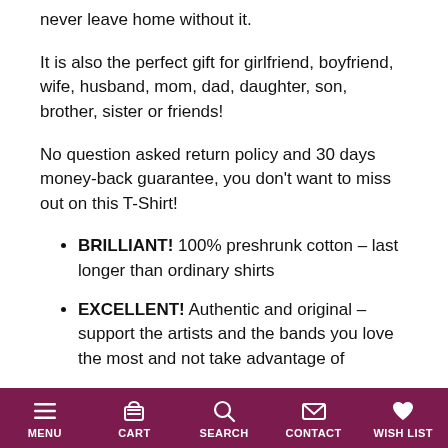never leave home without it.
It is also the perfect gift for girlfriend, boyfriend, wife, husband, mom, dad, daughter, son, brother, sister or friends!
No question asked return policy and 30 days money-back guarantee, you don't want to miss out on this T-Shirt!
BRILLIANT! 100% preshrunk cotton – last longer than ordinary shirts
EXCELLENT! Authentic and original – support the artists and the bands you love the most and not take advantage of
AMAZING! Great present – makes the perfect gift for every occasion... faster and easier than ever before
OUSTANDING! Attractive – allows you to stand out
MENU   CART   SEARCH   CONTACT   WISH LIST